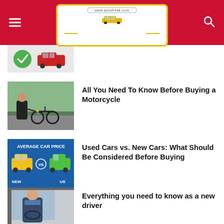Auto Freak — www.autofreak.com
[Figure (photo): Partial view of a car article thumbnail at top]
All You Need To Know Before Buying a Motorcycle
[Figure (photo): Person handing motorcycle keys to another person, with a motorcycle in the background]
Used Cars vs. New Cars: What Should Be Considered Before Buying
[Figure (illustration): Average Car Price infographic: yellow new car vs green used car on blue background]
Everything you need to know as a new driver
[Figure (photo): Young person sitting in driver's seat of a car, viewed from outside through the window]